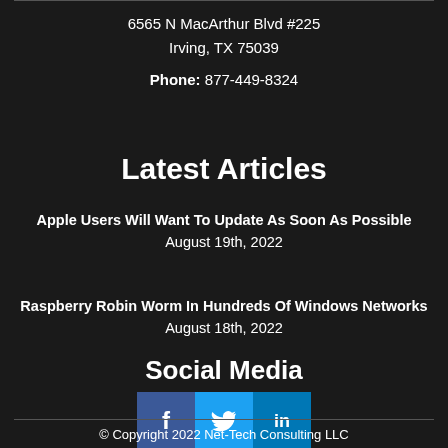6565 N MacArthur Blvd #225
Irving, TX 75039
Phone: 877-449-8324
Latest Articles
Apple Users Will Want To Update As Soon As Possible
August 19th, 2022
Raspberry Robin Worm In Hundreds Of Windows Networks
August 18th, 2022
Social Media
[Figure (infographic): Social media icons for Facebook, Twitter, and LinkedIn]
© Copyright 2022 Net-Tech Consulting LLC